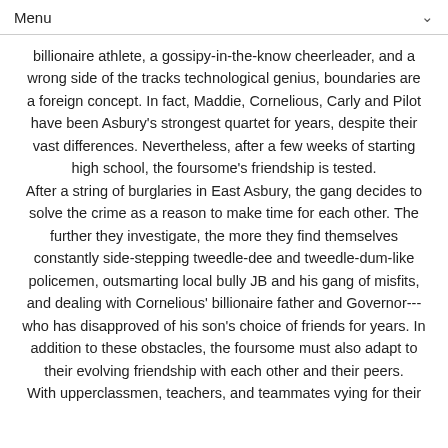Menu
billionaire athlete, a gossipy-in-the-know cheerleader, and a wrong side of the tracks technological genius, boundaries are a foreign concept. In fact, Maddie, Cornelious, Carly and Pilot have been Asbury's strongest quartet for years, despite their vast differences. Nevertheless, after a few weeks of starting high school, the foursome's friendship is tested. After a string of burglaries in East Asbury, the gang decides to solve the crime as a reason to make time for each other. The further they investigate, the more they find themselves constantly side-stepping tweedle-dee and tweedle-dum-like policemen, outsmarting local bully JB and his gang of misfits, and dealing with Cornelious' billionaire father and Governor--- who has disapproved of his son's choice of friends for years. In addition to these obstacles, the foursome must also adapt to their evolving friendship with each other and their peers. With upperclassmen, teachers, and teammates vying for their